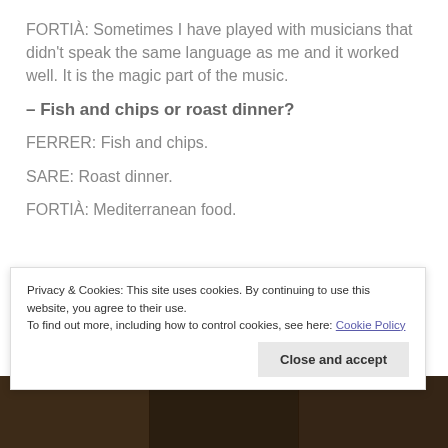FORTIÀ: Sometimes I have played with musicians that didn't speak the same language as me and it worked well. It is the magic part of the music.
– Fish and chips or roast dinner?
FERRER: Fish and chips.
SARE: Roast dinner.
FORTIÀ: Mediterranean food.
[Figure (photo): Dark-toned photographic strip at the bottom of the page, partially obscured by cookie banner, showing people.]
Privacy & Cookies: This site uses cookies. By continuing to use this website, you agree to their use.
To find out more, including how to control cookies, see here: Cookie Policy
Close and accept